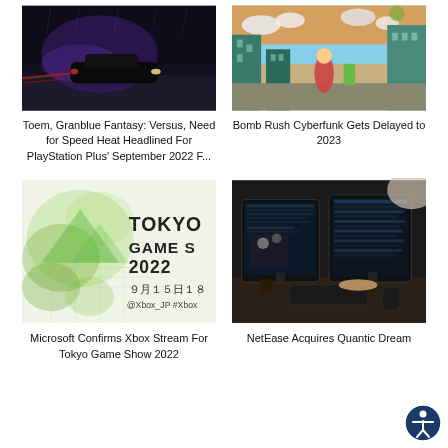[Figure (photo): Dark nighttime racing scene with a sports car on a wet street with purple/blue lighting]
Toem, Granblue Fantasy: Versus, Need for Speed Heat Headlined For PlayStation Plus' September 2022 F...
[Figure (photo): Colorful cartoon/anime style city street scene with buildings and characters]
Bomb Rush Cyberfunk Gets Delayed to 2023
[Figure (photo): Tokyo Game Show 2022 promotional image with green watercolor art and Japanese text: 9月15日18 @Xbox_JP #Xbox]
Microsoft Confirms Xbox Stream For Tokyo Game Show 2022
[Figure (photo): Person at a desk with multiple computer monitors showing dark software interfaces]
NetEase Acquires Quantic Dream